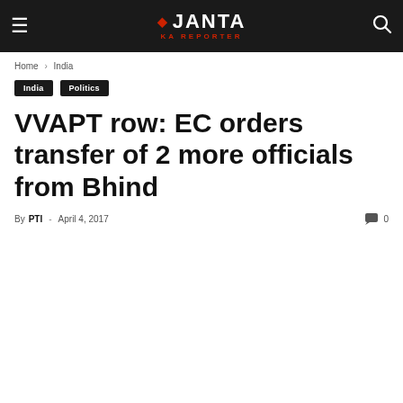Janta Ka Reporter
Home › India
India
Politics
VVAPT row: EC orders transfer of 2 more officials from Bhind
By PTI - April 4, 2017  0